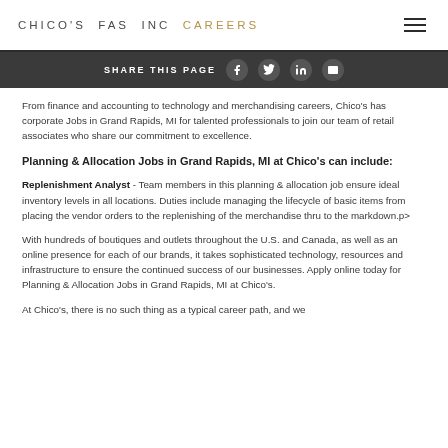CHICO'S FAS INC CAREERS
SHARE THIS PAGE
From finance and accounting to technology and merchandising careers, Chico's has corporate Jobs in Grand Rapids, MI for talented professionals to join our team of retail associates who share our commitment to excellence.
Planning & Allocation Jobs in Grand Rapids, MI at Chico's can include:
Replenishment Analyst - Team members in this planning & allocation job ensure ideal inventory levels in all locations. Duties include managing the lifecycle of basic items from placing the vendor orders to the replenishing of the merchandise thru to the markdown.p>
With hundreds of boutiques and outlets throughout the U.S. and Canada, as well as an online presence for each of our brands, it takes sophisticated technology, resources and infrastructure to ensure the continued success of our businesses. Apply online today for Planning & Allocation Jobs in Grand Rapids, MI at Chico's.
At Chico's, there is no such thing as a typical career path, and we